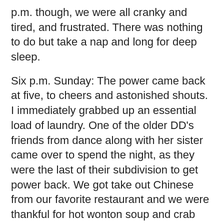p.m. though, we were all cranky and tired, and frustrated. There was nothing to do but take a nap and long for deep sleep.
Six p.m. Sunday: The power came back at five, to cheers and astonished shouts. I immediately grabbed up an essential load of laundry. One of the older DD's friends from dance along with her sister came over to spend the night, as they were the last of their subdivision to get power back. We got take out Chinese from our favorite restaurant and we were thankful for hot wonton soup and crab puffs. The air conditioners hummed in the background.
The pool vacuum, having run continuously for three hours, miraculously cleaned the pool of most all the debris. The air conditioner hummed in the background, the appliances sang. We saw lines of other people waiting for ice. With electricity, we did not need help. The volunteers and authorities could help the truly needy, because we could continue on our own. We were no longer in need or disconnected from the world, or counting the hours we had til fuel ran out. We talked about how if we stayed here, our